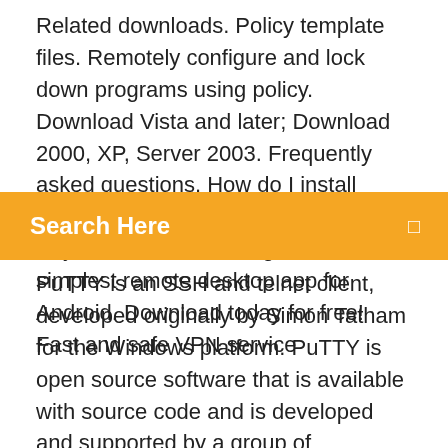Related downloads. Policy template files. Remotely configure and lock down programs using policy. Download Vista and later; Download 2000, XP, Server 2003. Frequently asked questions. How do I install VNC® Viewer? Just run the  Discover AnyDesk-The fastest, lightest and simplest remote desktop app for Android. Download today for free! Fast and safe VPN service
[Figure (other): Orange search bar with text 'Search Here' and a small icon on the right]
PuTTY is an SSH and telnet client, developed originally by Simon Tatham for the Windows platform. PuTTY is open source software that is available with source code and is developed and supported by a group of volunteers  Download the small AnyDesk file of 3 MB and finish urgent tasks on the go with AnyDesk's user-friendly interface. AnyDesk is not only compatible with Windows 10, but many other operating systems and their various versions, including iOS,  Nah untuk memudahkan kamu menggunakan vpn, maka ada aplikasi yang